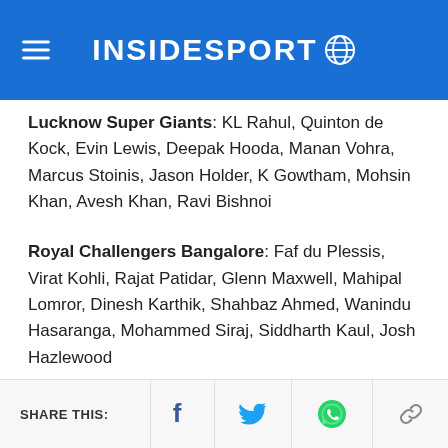INSIDESPORT
Lucknow Super Giants: KL Rahul, Quinton de Kock, Evin Lewis, Deepak Hooda, Manan Vohra, Marcus Stoinis, Jason Holder, K Gowtham, Mohsin Khan, Avesh Khan, Ravi Bishnoi
Royal Challengers Bangalore: Faf du Plessis, Virat Kohli, Rajat Patidar, Glenn Maxwell, Mahipal Lomror, Dinesh Karthik, Shahbaz Ahmed, Wanindu Hasaranga, Mohammed Siraj, Siddharth Kaul, Josh Hazlewood
Follow InsideSport on GOOGLE NEWS / Follow IPL 2022 Playoff LIVE Updates & LSG vs RCB LIVE
SHARE THIS: